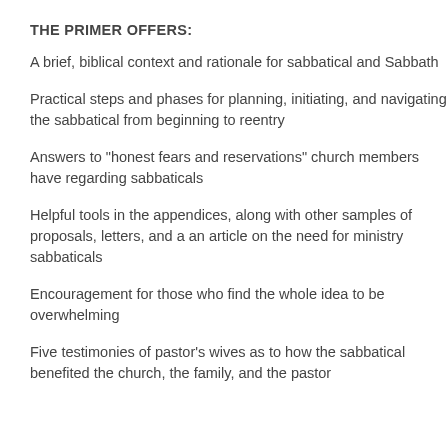THE PRIMER OFFERS:
A brief, biblical context and rationale for sabbatical and Sabbath
Practical steps and phases for planning, initiating, and navigating the sabbatical from beginning to reentry
Answers to "honest fears and reservations" church members have regarding sabbaticals
Helpful tools in the appendices, along with other samples of proposals, letters, and a an article on the need for ministry sabbaticals
Encouragement for those who find the whole idea to be overwhelming
Five testimonies of pastor's wives as to how the sabbatical benefited the church, the family, and the pastor